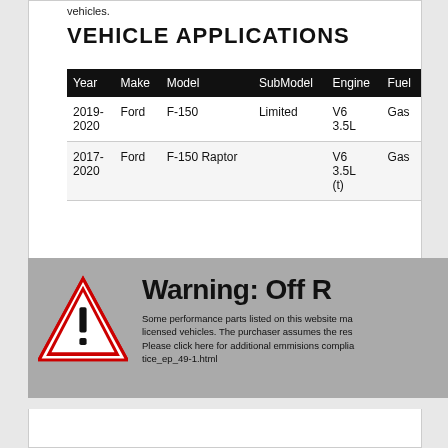vehicles.
VEHICLE APPLICATIONS
| Year | Make | Model | SubModel | Engine | Fuel |
| --- | --- | --- | --- | --- | --- |
| 2019-2020 | Ford | F-150 | Limited | V6 3.5L | Gas |
| 2017-2020 | Ford | F-150 Raptor |  | V6 3.5L (t) | Gas |
[Figure (infographic): Warning box with red triangle caution icon and text: Warning: Off R... Some performance parts listed on this website ma... licensed vehicles. The purchaser assumes the res... Please click here for additional emmisions complia... tice_ep_49-1.html]